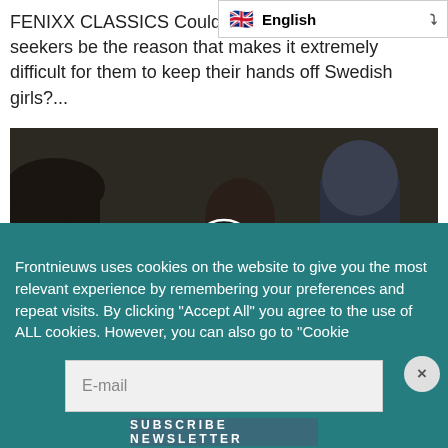[Figure (screenshot): Language selector dropdown showing UK flag and 'English' with dropdown chevron]
FENIXX CLASSICS Could a common AD…m seekers be the reason that makes it extremely difficult for them to keep their hands off Swedish girls?...
[Figure (photo): Video thumbnail showing people on an airplane, including a person being handled by officers, with a play button overlay]
Frontnieuws uses cookies on the website to give you the most relevant experience by remembering your preferences and repeat visits. By clicking "Accept All" you agree to the use of ALL cookies. However, you can also go to "Cookie
E-mail
Subscribe Newsletter